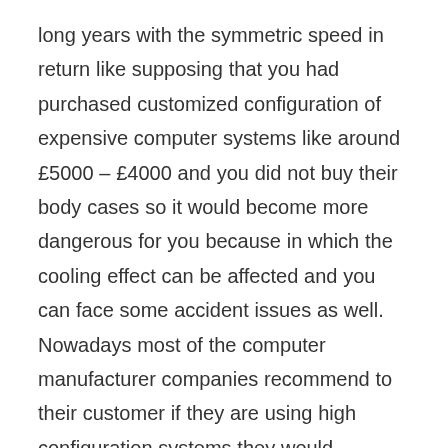long years with the symmetric speed in return like supposing that you had purchased customized configuration of expensive computer systems like around £5000 – £4000 and you did not buy their body cases so it would become more dangerous for you because in which the cooling effect can be affected and you can face some accident issues as well. Nowadays most of the computer manufacturer companies recommend to their customer if they are using high configuration systems they would consider to make their pc cool because if the system won't cool so the hardware could be effected in return, so for this reason nowadays there are many agencies or